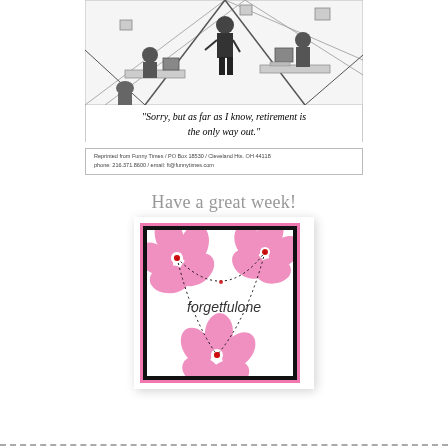[Figure (illustration): Black and white cartoon showing an office cubicle environment with several workers at desks and a person standing]
“Sorry, but as far as I know, retirement is the only way out.”
Reprinted from Funny Times / PO Box 18530 / Cleveland Hts. OH 44118
phone: 216.371.8600 / email: ft@funnytimes.com
Have a great week!
[Figure (logo): Logo with pink hibiscus flowers on white background with pink border and black border, text reads 'forgetfulone']